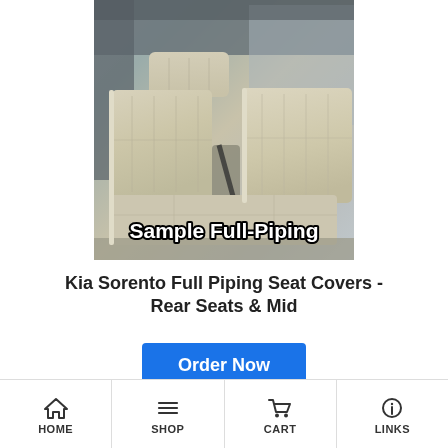[Figure (photo): Photo of beige/cream leather seat covers installed in a vehicle, showing rear bench seat with full piping detail. Text overlay reads 'Sample Full-Piping' in bold white text with black outline.]
Kia Sorento Full Piping Seat Covers - Rear Seats & Mid
Order Now
Available colors:
HOME  SHOP  CART  LINKS